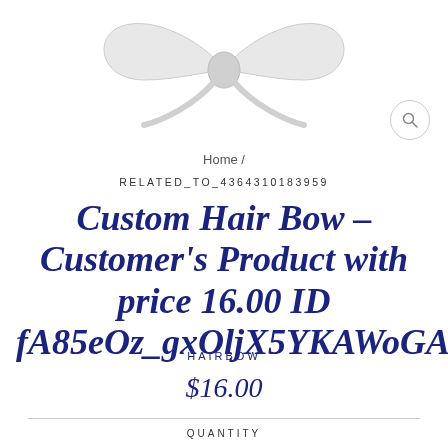[Figure (photo): Partial view of a white custom hair bow product on a white background, cropped at top of page.]
Home /
RELATED_TO_4364310183959
Custom Hair Bow – Customer's Product with price 16.00 ID fA85eOz_gxOljX5YKAWoGAFk
HAIRBOW
$16.00
QUANTITY